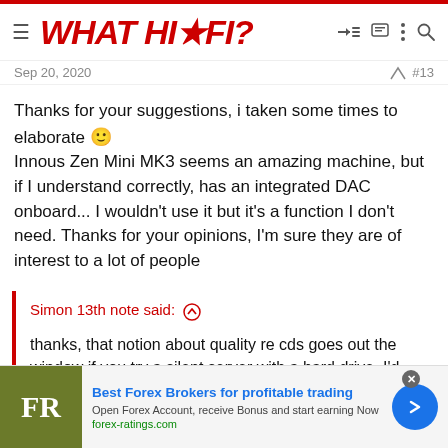WHAT HI-FI?
Sep 20, 2020  #13
Thanks for your suggestions, i taken some times to elaborate 🙂 Innous Zen Mini MK3 seems an amazing machine, but if I understand correctly, has an integrated DAC onboard... I wouldn't use it but it's a function I don't need. Thanks for your opinions, I'm sure they are of interest to a lot of people
Simon 13th note said: ↑
thanks, that notion about quality re cds goes out the window if you try a silent server with a hard drive. I'd look at innuos in this respect as Roon server, Cd ripper, server and hard drive in one. But a quiet
[Figure (other): Advertisement banner for Best Forex Brokers. Shows FR logo on green background, text reading 'Best Forex Brokers for profitable trading', 'Open Forex Account, receive Bonus and start earning Now', 'forex-ratings.com', and a blue arrow button.]